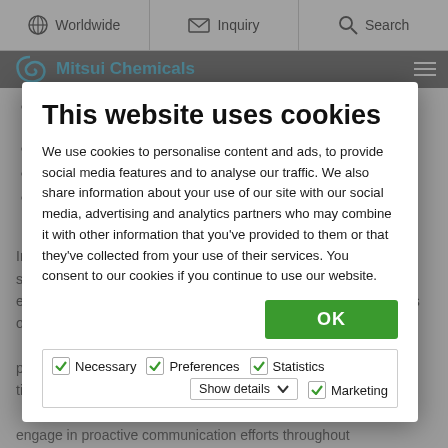Worldwide | Inquiry | Search
[Figure (screenshot): Mitsui Chemicals website background with navigation header and bulleted list items about information disclosure, partially visible behind cookie consent modal]
This website uses cookies
We use cookies to personalise content and ads, to provide social media features and to analyse our traffic. We also share information about your use of our site with our social media, advertising and analytics partners who may combine it with other information that you've provided to them or that they've collected from your use of their services. You consent to our cookies if you continue to use our website.
OK
Necessary  Preferences  Statistics  Marketing  Show details